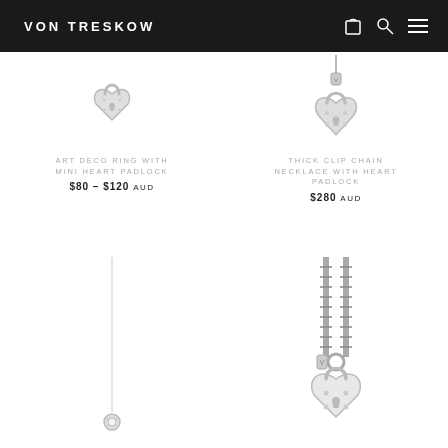VON TRESKOW
[Figure (photo): Silver art deco ring with mini heart padlock charm]
ART DECO RING WITH MINI HEART PADLOCK
$80 – $120 AUD
[Figure (photo): Thick clip chain necklace with heart padlock pendant]
THICK CLIP CHAIN NECKLACE WITH HEART PADLOCK
$280 AUD
[Figure (photo): Long thin chain necklace with solitaire pendant]
[Figure (photo): Thick chain necklace with heart padlock charm and tag]